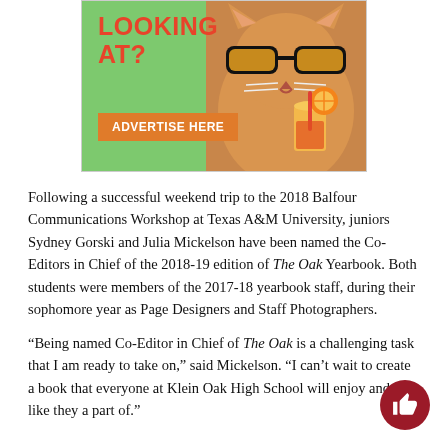[Figure (illustration): Advertisement banner showing a cat wearing sunglasses drinking from a straw with text 'LOOKING AT?' and an orange button 'ADVERTISE HERE' on a green background]
Following a successful weekend trip to the 2018 Balfour Communications Workshop at Texas A&M University, juniors Sydney Gorski and Julia Mickelson have been named the Co-Editors in Chief of the 2018-19 edition of The Oak Yearbook. Both students were members of the 2017-18 yearbook staff, during their sophomore year as Page Designers and Staff Photographers.
“Being named Co-Editor in Chief of The Oak is a challenging task that I am ready to take on,” said Mickelson. “I can’t wait to create a book that everyone at Klein Oak High School will enjoy and feel like they a part of.”
Gorski and Mickelson have known one another since elementary sch…